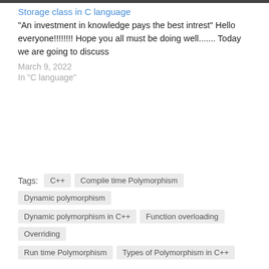Storage class in C language
"An investment in knowledge pays the best intrest" Hello everyone!!!!!!!! Hope you all must be doing well....... Today we are going to discuss
March 9, 2022
In "C language"
Tags: C++ | Compile time Polymorphism | Dynamic polymorphism | Dynamic polymorphism in C++ | Function overloading | Overriding | Run time Polymorphism | Types of Polymorphism in C++
YOU MAY ALSO LIKE...
[Figure (photo): Two thumbnail images side by side: left is dark with green background (C++ related), right shows Python logo on dark blue background]